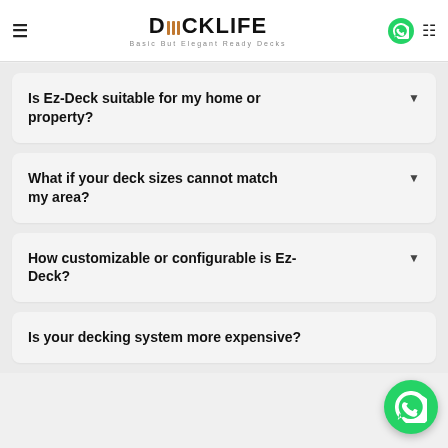DECKLIFE – Basic But Elegant Ready Decks
Is Ez-Deck suitable for my home or property?
What if your deck sizes cannot match my area?
How customizable or configurable is Ez-Deck?
Is your decking system more expensive?